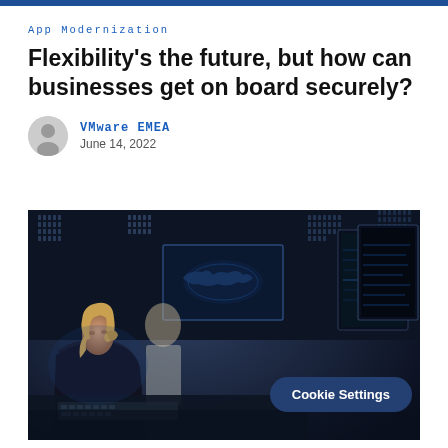App Modernization
Flexibility's the future, but how can businesses get on board securely?
VMware EMEA
June 14, 2022
[Figure (photo): Woman sitting at a computer workstation in a dark control room filled with monitors and screens displaying data, with other personnel in the background]
Cookie Settings